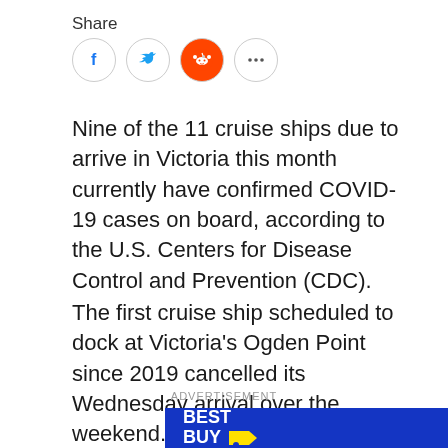Share
[Figure (other): Social share icons: Facebook (f), Twitter (bird), Reddit (alien), More (...)]
Nine of the 11 cruise ships due to arrive in Victoria this month currently have confirmed COVID-19 cases on board, according to the U.S. Centers for Disease Control and Prevention (CDC).
The first cruise ship scheduled to dock at Victoria's Ogden Point since 2019 cancelled its Wednesday arrival over the weekend.
ADVERTISEMENT
[Figure (logo): Best Buy advertisement banner with white text on blue background and yellow price tag logo]